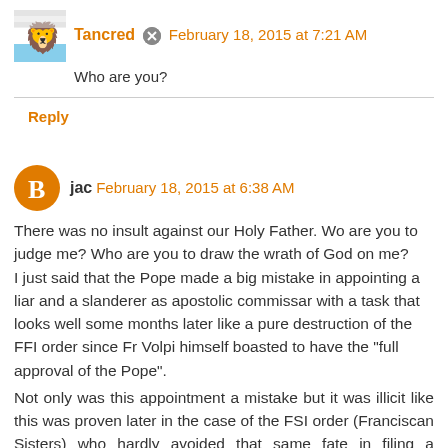Tancred · February 18, 2015 at 7:21 AM
Who are you?
Reply
jac February 18, 2015 at 6:38 AM
There was no insult against our Holy Father. Wo are you to judge me? Who are you to draw the wrath of God on me? I just said that the Pope made a big mistake in appointing a liar and a slanderer as apostolic commissar with a task that looks well some months later like a pure destruction of the FFI order since Fr Volpi himself boasted to have the "full approval of the Pope". Not only was this appointment a mistake but it was illicit like this was proven later in the case of the FSI order (Franciscan Sisters) who hardly avoided that same fate in filing a successful canonical suit near the Apostolic Signature Court: The hierachy was deemed right by this Court in carrying out an "inspection" of this order but it was